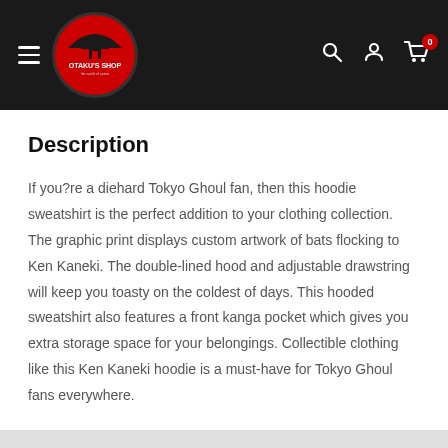Otaku's Shop
Description
If you?re a diehard Tokyo Ghoul fan, then this hoodie sweatshirt is the perfect addition to your clothing collection. The graphic print displays custom artwork of bats flocking to Ken Kaneki. The double-lined hood and adjustable drawstring will keep you toasty on the coldest of days. This hooded sweatshirt also features a front kanga pocket which gives you extra storage space for your belongings. Collectible clothing like this Ken Kaneki hoodie is a must-have for Tokyo Ghoul fans everywhere.